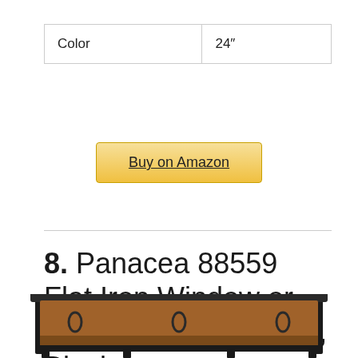| Color | 24″ |
Buy on Amazon
8. Panacea 88559 Flat Iron Window or Deck Planter, 48-Inch, Black
[Figure (photo): Bottom portion of a black flat iron window/deck planter with brown coir liner visible, shown cropped at the bottom of the page.]